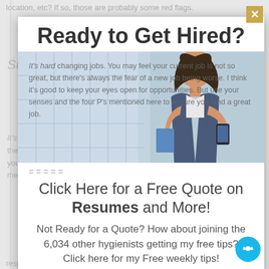location, etc? If so, those are probably some red flags.
Ready to Get Hired?
[Figure (photo): Woman in business attire looking at phone, standing outdoors near a glass building]
It's hard changing jobs. You may feel your current job is not so great, but there's always the fear of a new job being worse. I think it's good to keep your eyes open for opportunities. But use your senses and the four P's mentioned here to ensure you land a great job.
=====
Click Here for a Free Quote on Resumes and More!
Not Ready for a Quote? How about joining the 6,034 other hygienists getting my free tips? Click here for my Free weekly tips!
response to the challenging dental hygiene job market